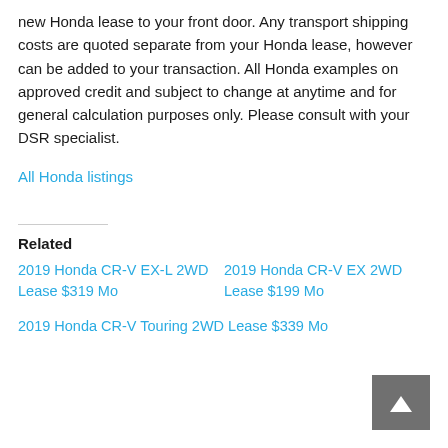new Honda lease to your front door. Any transport shipping costs are quoted separate from your Honda lease, however can be added to your transaction. All Honda examples on approved credit and subject to change at anytime and for general calculation purposes only. Please consult with your DSR specialist.
All Honda listings
Related
2019 Honda CR-V EX-L 2WD Lease $319 Mo
2019 Honda CR-V EX 2WD Lease $199 Mo
2019 Honda CR-V Touring 2WD Lease $339 Mo